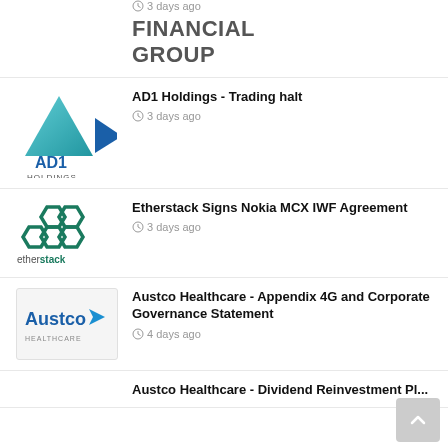[Figure (logo): Partial logo - FINANCIAL GROUP text visible at top]
3 days ago
[Figure (logo): AD1 Holdings logo - triangle and arrow shapes in teal/blue]
AD1 Holdings - Trading halt
3 days ago
[Figure (logo): Etherstack logo - hexagonal honeycomb shapes in teal/green]
Etherstack Signs Nokia MCX IWF Agreement
3 days ago
[Figure (logo): Austco Healthcare logo - blue text with arrow shape]
Austco Healthcare - Appendix 4G and Corporate Governance Statement
4 days ago
Austco Healthcare - Dividend Reinvestment Pl...